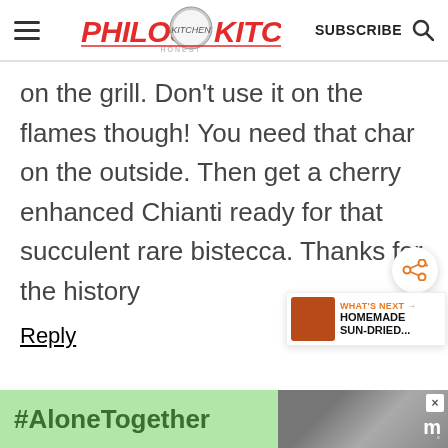PHILOS KITCHEN — SUBSCRIBE
on the grill. Don't use it on the flames though! You need that char on the outside. Then get a cherry enhanced Chianti ready for that succulent rare bistecca. Thanks for the history
Reply
[Figure (infographic): WHAT'S NEXT → HOMEMADE SUN-DRIED... widget with food thumbnail]
#AloneTogether